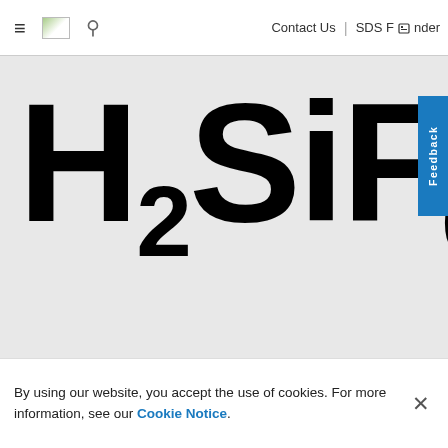Contact Us | SDS Finder
[Figure (illustration): Large chemical formula H2SiF6 displayed in bold black text on a light gray background, partially cropped at the bottom]
Feedback
By using our website, you accept the use of cookies. For more information, see our Cookie Notice.